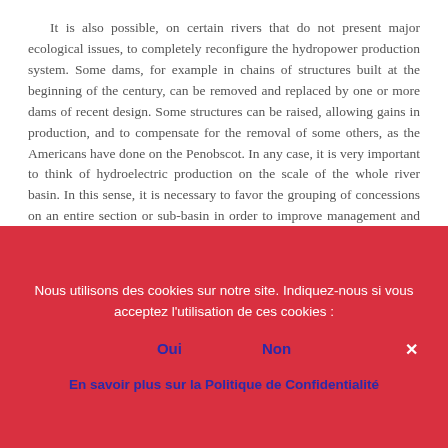It is also possible, on certain rivers that do not present major ecological issues, to completely reconfigure the hydropower production system. Some dams, for example in chains of structures built at the beginning of the century, can be removed and replaced by one or more dams of recent design. Some structures can be raised, allowing gains in production, and to compensate for the removal of some others, as the Americans have done on the Penobscot. In any case, it is very important to think of hydroelectric production on the scale of the whole river basin. In this sense, it is necessary to favor the grouping of concessions on an entire section or sub-basin in order to improve management and reduce the impact on the river.
Nous utilisons des cookies sur notre site. Indiquez-nous si vous acceptez l'utilisation de ces cookies :
Oui    Non
En savoir plus sur la Politique de Confidentialité